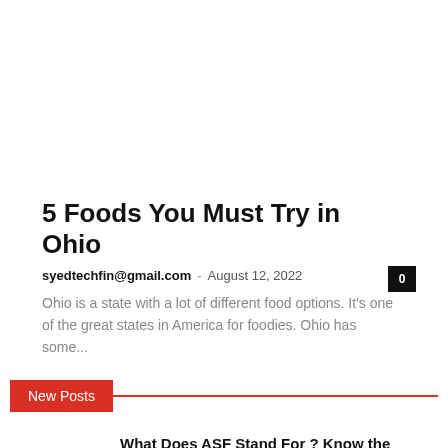5 Foods You Must Try in Ohio
syedtechfin@gmail.com - August 12, 2022
Ohio is a state with a lot of different food options. It's one of the great states in America for foodies. Ohio has some...
New Posts
What Does ASF Stand For ? Know the meaning
August 18, 2022